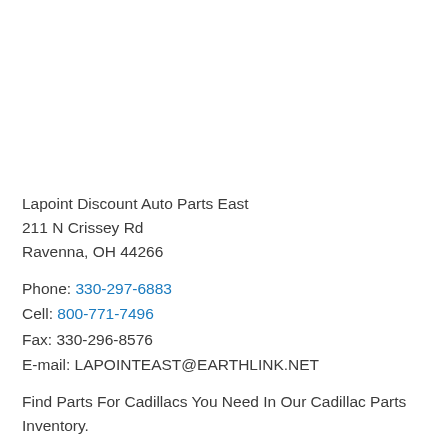Lapoint Discount Auto Parts East
211 N Crissey Rd
Ravenna, OH 44266
Phone: 330-297-6883
Cell: 800-771-7496
Fax: 330-296-8576
E-mail: LAPOINTEAST@EARTHLINK.NET
Find Parts For Cadillacs You Need In Our Cadillac Parts Inventory.